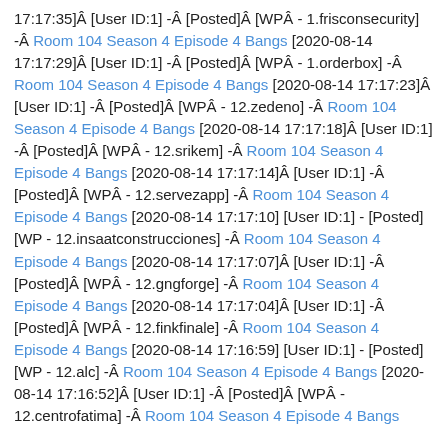17:17:35]Â [User ID:1] -Â [Posted]Â [WPÂ - 1.frisconsecurity] -Â Room 104 Season 4 Episode 4 Bangs [2020-08-14 17:17:29]Â [User ID:1] -Â [Posted]Â [WPÂ - 1.orderbox] -Â Room 104 Season 4 Episode 4 Bangs [2020-08-14 17:17:23]Â [User ID:1] -Â [Posted]Â [WPÂ - 12.zedeno] -Â Room 104 Season 4 Episode 4 Bangs [2020-08-14 17:17:18]Â [User ID:1] -Â [Posted]Â [WPÂ - 12.srikem] -Â Room 104 Season 4 Episode 4 Bangs [2020-08-14 17:17:14]Â [User ID:1] -Â [Posted]Â [WPÂ - 12.servezapp] -Â Room 104 Season 4 Episode 4 Bangs [2020-08-14 17:17:10] [User ID:1] - [Posted] [WP - 12.insaatconstrucciones] -Â Room 104 Season 4 Episode 4 Bangs [2020-08-14 17:17:07]Â [User ID:1] -Â [Posted]Â [WPÂ - 12.gngforge] -Â Room 104 Season 4 Episode 4 Bangs [2020-08-14 17:17:04]Â [User ID:1] -Â [Posted]Â [WPÂ - 12.finkfinale] -Â Room 104 Season 4 Episode 4 Bangs [2020-08-14 17:16:59] [User ID:1] - [Posted] [WP - 12.alc] -Â Room 104 Season 4 Episode 4 Bangs [2020-08-14 17:16:52]Â [User ID:1] -Â [Posted]Â [WPÂ - 12.centrofatima] -Â Room 104 Season 4 Episode 4 Bangs